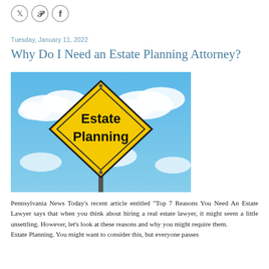[Figure (logo): Three social media share icons (Twitter bird, Pinterest P, Facebook F) in circular outline style]
Tuesday, January 11, 2022
Why Do I Need an Estate Planning Attorney?
[Figure (photo): A yellow diamond-shaped road sign reading 'Estate Planning' on a post against a bright blue sky with white clouds]
Pennsylvania News Today's recent article entitled "Top 7 Reasons You Need An Estate Lawyer says that when you think about hiring a real estate lawyer, it might seem a little unsettling. However, let's look at these reasons and why you might require them.
Estate Planning. You might want to consider this, but everyone passes